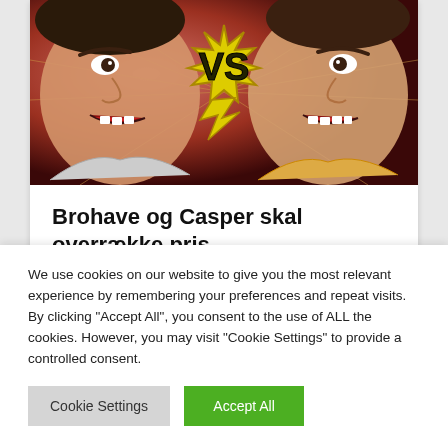[Figure (illustration): Two cartoon-style angry faces facing each other with a yellow 'VS' lightning bolt badge in the middle, comic-book fight scene style illustration]
Brohave og Casper skal overrække pris
We use cookies on our website to give you the most relevant experience by remembering your preferences and repeat visits. By clicking "Accept All", you consent to the use of ALL the cookies. However, you may visit "Cookie Settings" to provide a controlled consent.